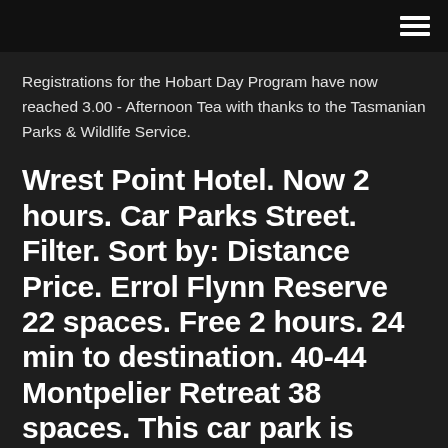Registrations for the Hobart Day Program have now reached 3.00 - Afternoon Tea with thanks to the Tasmanian Parks & Wildlife Service.
Wrest Point Hotel. Now 2 hours. Car Parks Street. Filter. Sort by: Distance Price. Errol Flynn Reserve 22 spaces. Free 2 hours. 24 min to destination. 40-44 Montpelier Retreat 38 spaces. This car park is closed during the times you have selected. 43 min to destination. Salamanca Square